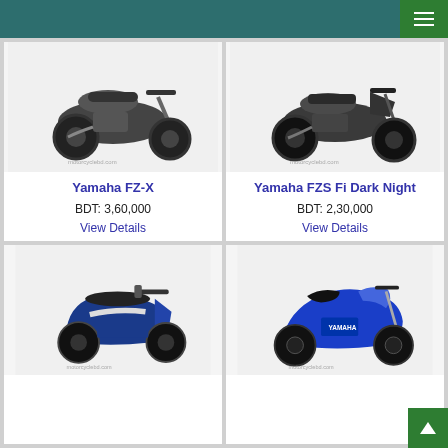[Figure (screenshot): Website header bar with dark teal background and green hamburger menu button on the right]
[Figure (photo): Yamaha FZ-X motorcycle in dark color, side view, with motorcyclebd.com watermark]
Yamaha FZ-X
BDT: 3,60,000
View Details
[Figure (photo): Yamaha FZS Fi Dark Night motorcycle in dark color, side view, with motorcyclebd.com watermark]
Yamaha FZS Fi Dark Night
BDT: 2,30,000
View Details
[Figure (photo): Yamaha scooter in blue/black color, side view, with motorcyclebd.com watermark]
[Figure (photo): Yamaha R15 sport motorcycle in blue color, side view, with motorcyclebd.com watermark]